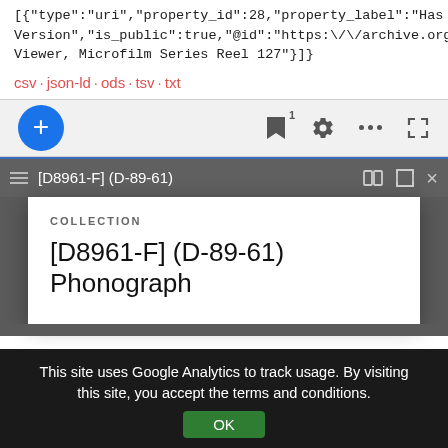[{"type":"uri","property_id":28,"property_label":"Has Version","is_public":true,"@id":"https://archive.org/deta Viewer, Microfilm Series Reel 127"}]}
csv · json-ld · ods · tsv · txt
[Figure (screenshot): Browser toolbar with blue FAB plus button, bookmark icon with badge 1, gear/settings icon, ellipsis menu, and fullscreen icon on a light gray background]
[Figure (screenshot): Inner browser window showing a collection popup card with title '[D8961-F] (D-89-61) Phonograph' labeled under COLLECTION, on a dark gray browser background]
This site uses Google Analytics to track usage. By visiting this site, you accept the terms and conditions.
OK